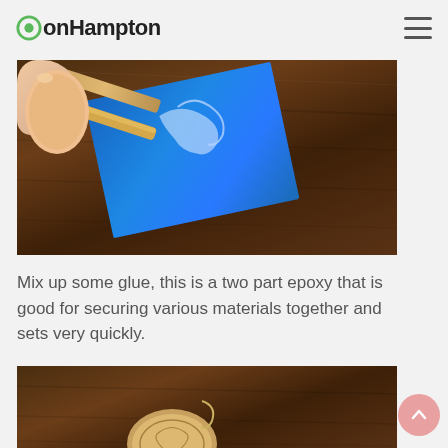onHampton
[Figure (photo): A hand holding a popsicle stick mixing clear two-part epoxy glue on a blue tile, set on a wooden table surface.]
Mix up some glue, this is a two part epoxy that is good for securing various materials together and sets very quickly.
[Figure (photo): A decorative medallion or heart-shaped object with engraved design held against a wooden table surface.]